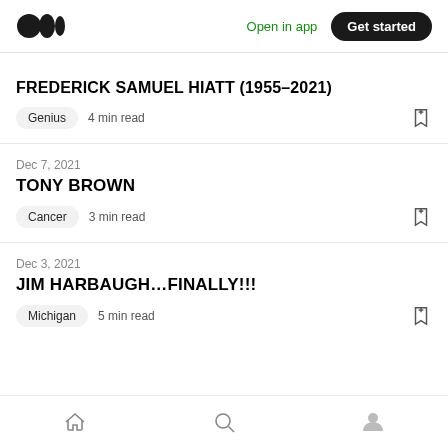Open in app  Get started
FREDERICK SAMUEL HIATT (1955–2021)
Genius  4 min read
Dec 7, 2021
TONY BROWN
Cancer  3 min read
Dec 3, 2021
JIM HARBAUGH…FINALLY!!!
Michigan  5 min read
Home  Search  Profile